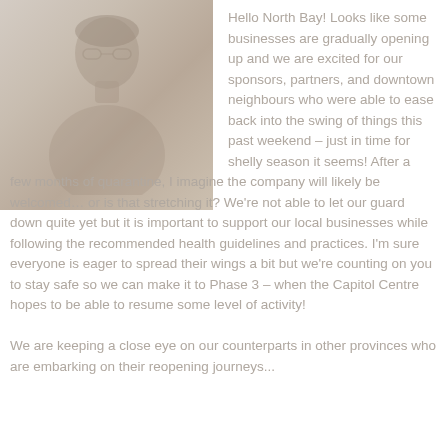[Figure (photo): A faded grayscale portrait photo of a person, approximately square, positioned in the upper left of the page.]
Hello North Bay! Looks like some businesses are gradually opening up and we are excited for our sponsors, partners, and downtown neighbours who were able to ease back into the swing of things this past weekend – just in time for shelly season it seems! After a few months of quarantine, I imagine the company will likely be welcomed… or is that stretching it? We're not able to let our guard down quite yet but it is important to support our local businesses while following the recommended health guidelines and practices. I'm sure everyone is eager to spread their wings a bit but we're counting on you to stay safe so we can make it to Phase 3 – when the Capitol Centre hopes to be able to resume some level of activity!

We are keeping a close eye on our counterparts in other provinces who are embarking on their reopening journeys...